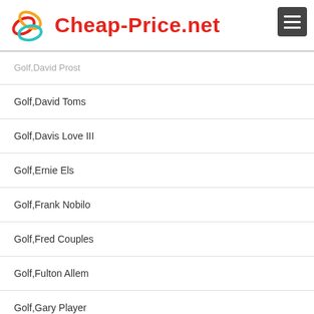Cheap-Price.net
Golf,David Toms
Golf,Davis Love III
Golf,Ernie Els
Golf,Frank Nobilo
Golf,Fred Couples
Golf,Fulton Allem
Golf,Gary Player
Golf,Gene Littler
Golf,Gene Sarazen
Golf,Golf All Teams